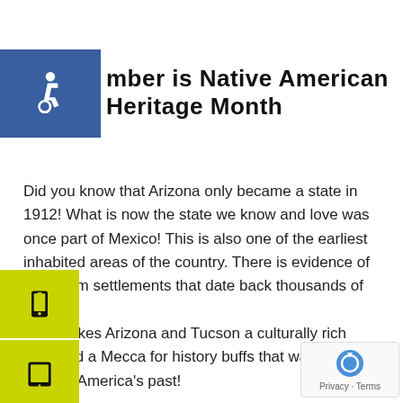[Figure (logo): Blue square with white wheelchair accessibility icon]
November is Native American Heritage Month
Did you know that Arizona only became a state in 1912! What is now the state we know and love was once part of Mexico! This is also one of the earliest inhabited areas of the country. There is evidence of Hohokam settlements that date back thousands of years.
[Figure (logo): Yellow square with black phone icon]
[Figure (logo): Yellow square with black tablet icon]
[Figure (logo): Yellow square with black clipboard icon]
This makes Arizona and Tucson a culturally rich area and a Mecca for history buffs that want to explore America's past!